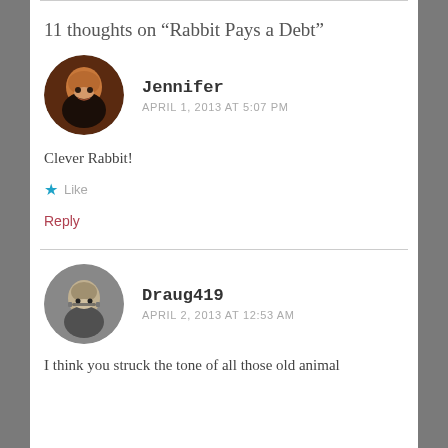11 thoughts on “Rabbit Pays a Debt”
[Figure (photo): Avatar of commenter Jennifer: woman with reddish-brown hair in circular profile photo]
Jennifer
APRIL 1, 2013 AT 5:07 PM
Clever Rabbit!
Like
Reply
[Figure (photo): Avatar of commenter Draug419: young man with glasses in circular profile photo]
Draug419
APRIL 2, 2013 AT 12:53 AM
I think you struck the tone of all those old animal